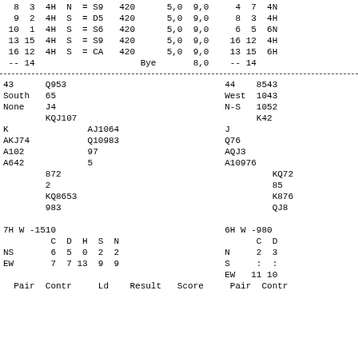| 8 | 3 | 4H | N | = S9 | 420 |  | 5,0 | 9,0 | 4 | 7 | 4N |
| 9 | 2 | 4H | S | = D5 | 420 |  | 5,0 | 9,0 | 8 | 3 | 4H |
| 10 | 1 | 4H | S | = S6 | 420 |  | 5,0 | 9,0 | 6 | 5 | 6N |
| 13 | 15 | 4H | S | = S9 | 420 |  | 5,0 | 9,0 | 16 | 12 | 4H |
| 16 | 12 | 4H | S | = CA | 420 |  | 5,0 | 9,0 | 13 | 15 | 6H |
| -- | 14 |  |  |  |  | Bye |  | 8,0 | -- | 14 |  |
43   Q953                                    44    8543
South 65                                    West  1043
None  J4                                    N-S   1052
      KQJ107                                      K42
K              AJ1064                       J
AKJ74          Q10983                       Q76
A102           97                           AQJ3
A642           5                            A10976
       872                                              KQ72
       2                                               85
       KQ8653                                          K876
       983                                             QJ8
7H W -1510                                  6H W -980
        C  D  H  S  N                              C  D
NS      6  5  0  2  2                       N      2  3
EW      7  7 13  9  9                       S      :  :
                                            EW    11 10
| Pair | Contr | Ld | Result | Score | Pair | Contr |
| --- | --- | --- | --- | --- | --- | --- |